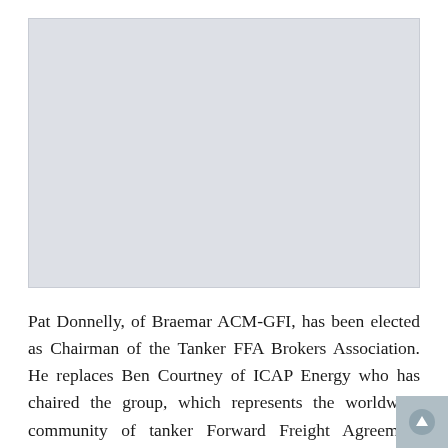[Figure (photo): Placeholder photo area with light grey background, likely a portrait photo of Pat Donnelly]
Pat Donnelly, of Braemar ACM-GFI, has been elected as Chairman of the Tanker FFA Brokers Association. He replaces Ben Courtney of ICAP Energy who has chaired the group, which represents the worldwide community of tanker Forward Freight Agreement (FFA) brokers, since 2016.